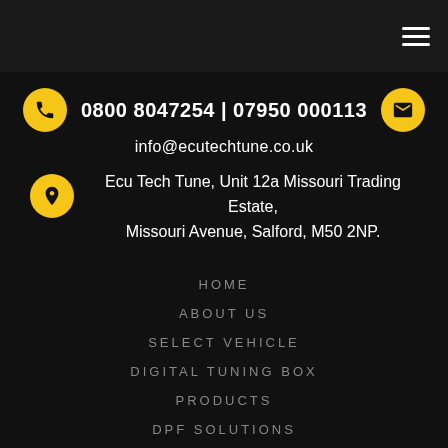navigation bar with hamburger menu
0800 8047254 | 07950 000113
info@ecutechtune.co.uk
Ecu Tech Tune, Unit 12a Missouri Trading Estate, Missouri Avenue, Salford, M50 2NP.
HOME
ABOUT US
SELECT VEHICLE
DIGITAL TUNING BOX
PRODUCTS
DPF SOLUTIONS
ADBLUE SOLUTIONS
NEWS